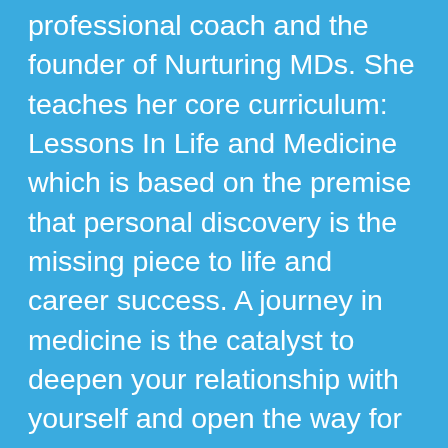professional coach and the founder of Nurturing MDs. She teaches her core curriculum: Lessons In Life and Medicine which is based on the premise that personal discovery is the missing piece to life and career success. A journey in medicine is the catalyst to deepen your relationship with yourself and open the way for inner healing so you emerge healed, powerful, loved, and energized. Dr. Stephanie reinvented her life and career when the life she had known was shattered by divorce. That had not been in her dreams. She had to rediscover and redefine what it meant to be a physician